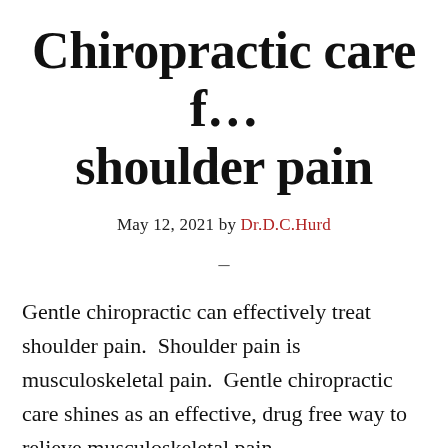Chiropractic care f… shoulder pain
May 12, 2021 by Dr.D.C.Hurd
–
Gentle chiropractic can effectively treat shoulder pain. Shoulder pain is musculoskeletal pain. Gentle chiropractic care shines as an effective, drug free way to relieve musculoskeletal pain.